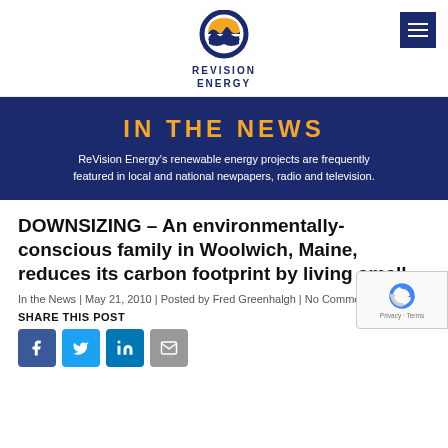REVISION ENERGY (logo)
IN THE NEWS
ReVision Energy's renewable energy projects are frequently featured in local and national newpapers, radio and television.
DOWNSIZING – An environmentally-conscious family in Woolwich, Maine, reduces its carbon footprint by living small
In the News | May 21, 2010 | Posted by Fred Greenhalgh | No Comments
SHARE THIS POST
[Figure (other): Social sharing icons: Facebook, Twitter, LinkedIn, Email]